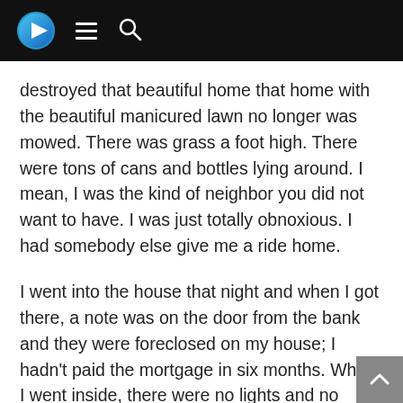Navigation header bar with play button, menu icon, and search icon
destroyed that beautiful home that home with the beautiful manicured lawn no longer was mowed. There was grass a foot high. There were tons of cans and bottles lying around. I mean, I was the kind of neighbor you did not want to have. I was just totally obnoxious. I had somebody else give me a ride home.
I went into the house that night and when I got there, a note was on the door from the bank and they were foreclosed on my house; I hadn't paid the mortgage in six months. When I went inside, there were no lights and no running water. There was no heat. There was no telephone, there were no children, there were no groceries and I couldn't stay there. That was November 8th 1989, I left and I went to the bar. I walked the bar and I got a shot of tequila and a beer to chase. As I